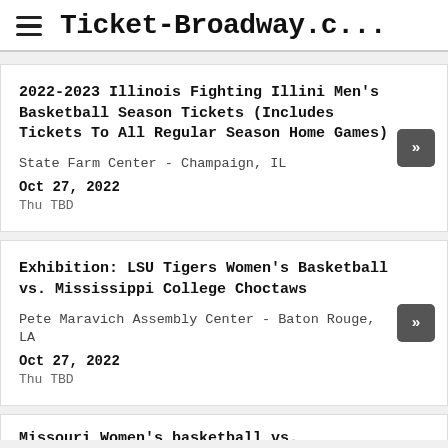Ticket-Broadway.c...
2022-2023 Illinois Fighting Illini Men's Basketball Season Tickets (Includes Tickets To All Regular Season Home Games)
State Farm Center - Champaign, IL
Oct 27, 2022
Thu TBD
Exhibition: LSU Tigers Women's Basketball vs. Mississippi College Choctaws
Pete Maravich Assembly Center - Baton Rouge, LA
Oct 27, 2022
Thu TBD
Missouri Women's basketball vs. Wisconsin...